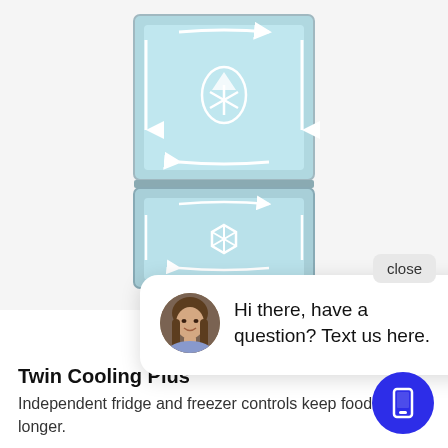[Figure (illustration): Refrigerator product illustration with twin cooling system diagram showing airflow arrows and snowflake/water-drop icons on a light blue background]
close
[Figure (screenshot): Chat widget overlay showing a customer service representative avatar (woman with brown hair) and text: Hi there, have a question? Text us here.]
Twin Cooling Plus ®
Independent fridge and freezer controls keep food fresher longer.